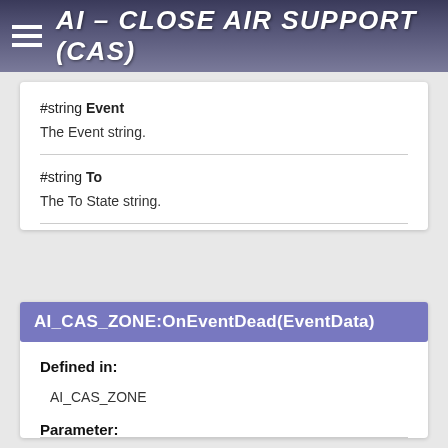AI - CLOSE AIR SUPPORT (CAS)
#string Event
The Event string.
#string To
The To State string.
AI_CAS_ZONE:OnEventDead(EventData)
Defined in:
AI_CAS_ZONE
Parameter:
Core.Event#EVENTDATA EventData